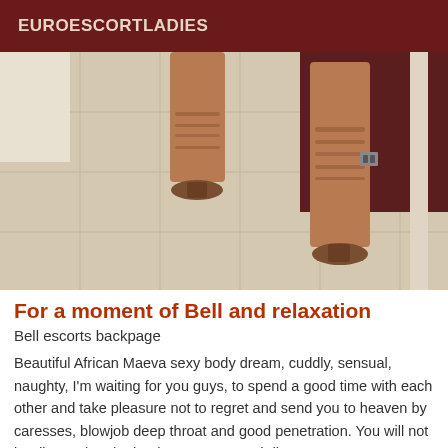EUROESCORTLADIES
[Figure (photo): Photo showing the lower legs and high-heeled knee-high brown suede boots of a person standing on a light tile floor, with a dark reddish-brown wall in the background.]
For a moment of Bell and relaxation
Bell escorts backpage
Beautiful African Maeva sexy body dream, cuddly, sensual, naughty, I'm waiting for you guys, to spend a good time with each other and take pleasure not to regret and send you to heaven by caresses, blowjob deep throat and good penetration. You will not be disappointed. Thank you, come and discover me